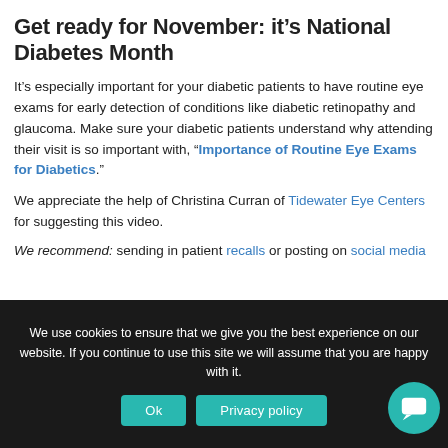Get ready for November: it's National Diabetes Month
It's especially important for your diabetic patients to have routine eye exams for early detection of conditions like diabetic retinopathy and glaucoma. Make sure your diabetic patients understand why attending their visit is so important with, "Importance of Routine Eye Exams for Diabetics."
We appreciate the help of Christina Curran of Tidewater Eye Centers for suggesting this video.
We recommend: sending in patient recalls or posting on social media
We use cookies to ensure that we give you the best experience on our website. If you continue to use this site we will assume that you are happy with it.